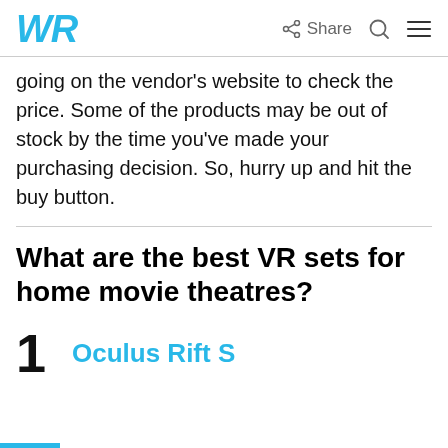WR | Share
going on the vendor's website to check the price. Some of the products may be out of stock by the time you've made your purchasing decision. So, hurry up and hit the buy button.
What are the best VR sets for home movie theatres?
1  Oculus Rift S